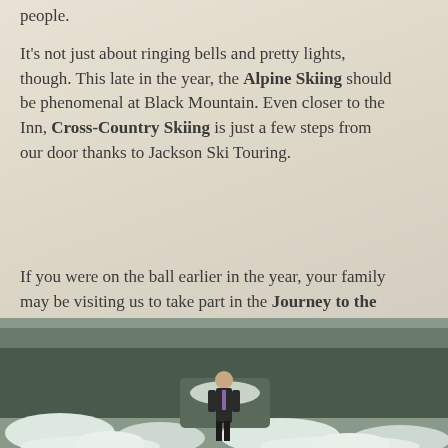people.
It's not just about ringing bells and pretty lights, though. This late in the year, the Alpine Skiing should be phenomenal at Black Mountain. Even closer to the Inn, Cross-Country Skiing is just a few steps from our door thanks to Jackson Ski Touring.
If you were on the ball earlier in the year, your family may be visiting us to take part in the Journey to the North Pole. This event always sells out, so we begin booking guests for it in the springtime. We're happy to add you to next year's list if you let us know!
[Figure (photo): A person in a dark suit standing outdoors in a snowy winter landscape with snow-covered rocks and evergreen trees in the background.]